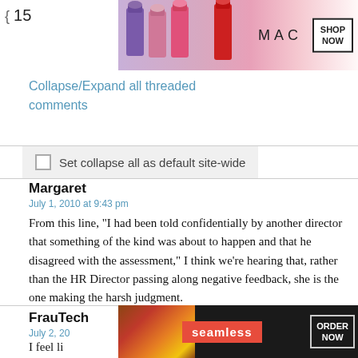[Figure (photo): MAC cosmetics advertisement banner showing lipsticks in purple, pink, hot pink colors with MAC logo and SHOP NOW button]
Collapse/Expand all threaded comments
Set collapse all as default site-wide
Margaret
July 1, 2010 at 9:43 pm
From this line, "I had been told confidentially by another director that something of the kind was about to happen and that he disagreed with the assessment," I think we're hearing that, rather than the HR Director passing along negative feedback, she is the one making the harsh judgment.
FrauTech
July 2, 20
I feel li
[Figure (photo): Seamless food delivery advertisement showing pizza with Seamless logo and ORDER NOW button with CLOSE button]
rector